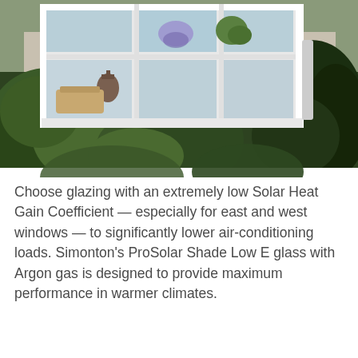[Figure (photo): Exterior view of a white-framed garden window (bay/box window) protruding from a house, with plants and decorative items visible inside the glass panels. Lush green shrubs and foliage surround the base of the window outside.]
Choose glazing with an extremely low Solar Heat Gain Coefficient — especially for east and west windows — to significantly lower air-conditioning loads. Simonton's ProSolar Shade Low E glass with Argon gas is designed to provide maximum performance in warmer climates.